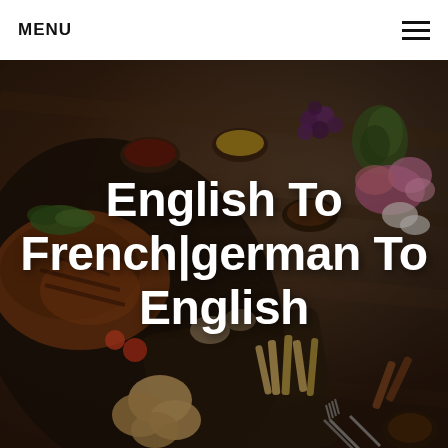MENU
[Figure (photo): Overhead shot of a rustic food spread on a wooden table: grilled meats, bread rolls, french fries, various dipping sauces in small bowls, grapes, vegetables, pink and white wildflowers, forks, and wooden cutting boards.]
English To French|german To English